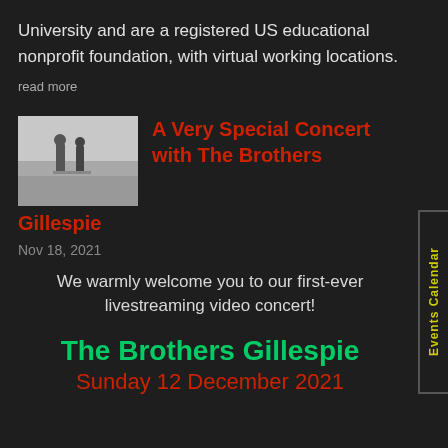University and are a registered US educational nonprofit foundation, with virtual working locations.
read more
[Figure (photo): Black and white photo of two people standing on a beach]
A Very Special Concert with The Brothers Gillespie
Nov 18, 2021
We warmly welcome you to our first-ever livestreaming video concert!
The Brothers Gillespie
Sunday 12 December 2021
Events Calendar